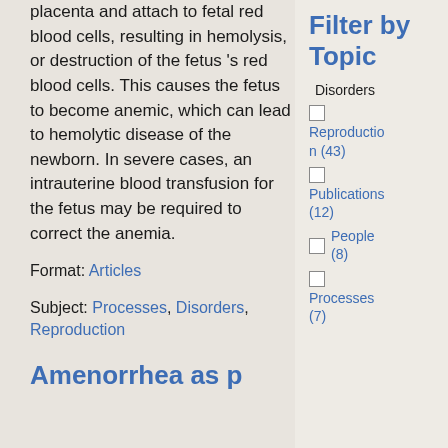placenta and attach to fetal red blood cells, resulting in hemolysis, or destruction of the fetus 's red blood cells. This causes the fetus to become anemic, which can lead to hemolytic disease of the newborn. In severe cases, an intrauterine blood transfusion for the fetus may be required to correct the anemia.
Format: Articles
Subject: Processes, Disorders, Reproduction
Amenorrhea as p...
Filter by Topic
Disorders (checked)
Reproduction (43)
Publications (12)
People (8)
Processes (7)